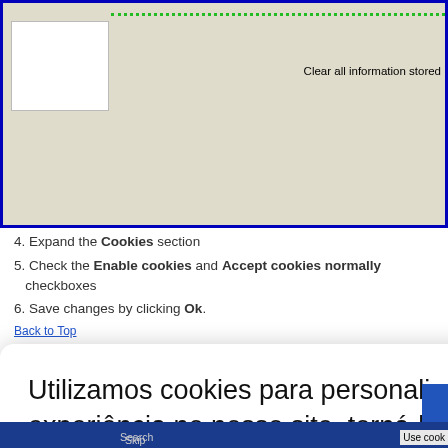[Figure (screenshot): Browser settings screenshot showing a beige dialog with a dotted green line at top, a white rectangle on the left, and 'Clear all information stored' text on the right.]
4. Expand the Cookies section
5. Check the Enable cookies and Accept cookies normally checkboxes
6. Save changes by clicking Ok.
Back to Top
Utilizamos cookies para personalizar a sua experiência no nosso site, torná-la melhor e mais relevante. Sendo possível memorizar suas preferências em acessos futuros. Clicando em "Aceitar", você está consentindo a utilização de todos os cookies. Entretanto, você pode acessar, "Configurar Cookie" para controlar o consentimento. Leia mais